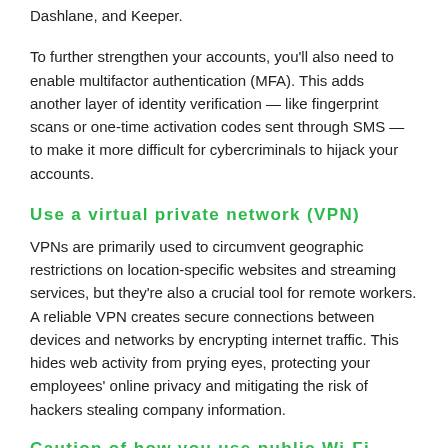Dashlane, and Keeper.
To further strengthen your accounts, you'll also need to enable multifactor authentication (MFA). This adds another layer of identity verification — like fingerprint scans or one-time activation codes sent through SMS — to make it more difficult for cybercriminals to hijack your accounts.
Use a virtual private network (VPN)
VPNs are primarily used to circumvent geographic restrictions on location-specific websites and streaming services, but they're also a crucial tool for remote workers. A reliable VPN creates secure connections between devices and networks by encrypting internet traffic. This hides web activity from prying eyes, protecting your employees' online privacy and mitigating the risk of hackers stealing company information.
Caution of how you use public Wi-Fi